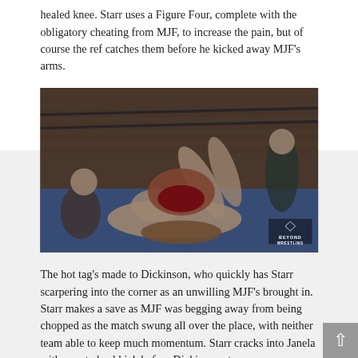healed knee. Starr uses a Figure Four, complete with the obligatory cheating from MJF, to increase the pain, but of course the ref catches them before he kicked away MJF's arms.
[Figure (photo): Wrestling match photo showing wrestlers on a blue mat in a ring with brick wall background. A wrestler is applying a submission hold. 'Beyond Wrestling' logo visible in bottom right corner.]
The hot tag's made to Dickinson, who quickly has Starr scarpering into the corner as an unwilling MJF's brought in. Starr makes a save as MJF was begging away from being chopped as the match swung all over the place, with neither team able to keep much momentum. Starr cracks into Janela with a cartwheel kick before Dickinson ate a